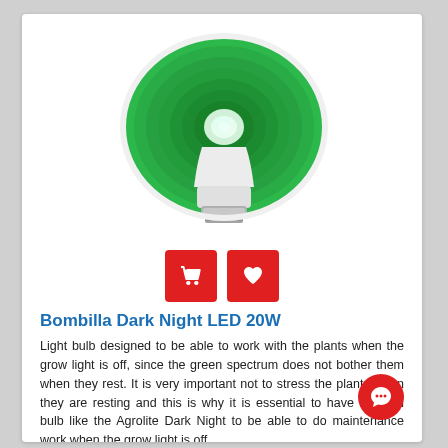[Figure (photo): Green PAR LED 20W light bulb with white base, shown at an angle with the green reflector facing the viewer. Below the image are two red square buttons: a shopping cart icon and a heart/wishlist icon.]
Bombilla Dark Night LED 20W
Light bulb designed to be able to work with the plants when the grow light is off, since the green spectrum does not bother them when they rest. It is very important not to stress the plants when they are resting and this is why it is essential to have a green bulb like the Agrolite Dark Night to be able to do maintenance work when the grow light is off.
In Stock
7,50 €